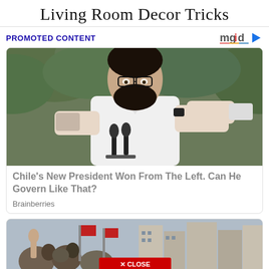Living Room Decor Tricks
PROMOTED CONTENT
[Figure (logo): mgid logo with play button icon]
[Figure (photo): Man in white shirt with glasses and beard, rolling up sleeve to reveal tattoo, standing in front of microphones with green foliage background]
Chile's New President Won From The Left. Can He Govern Like That?
Brainberries
[Figure (photo): Crowd scene with people raising hands, red flags, European city buildings in background, with a red CLOSE button overlay at bottom center]